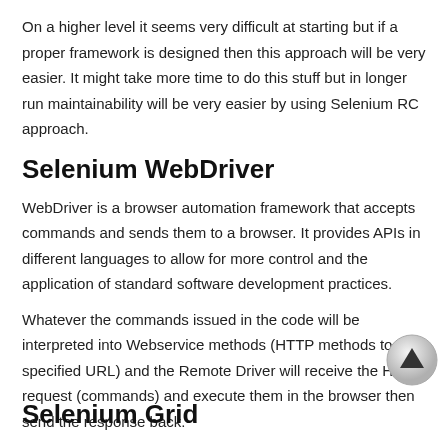On a higher level it seems very difficult at starting but if a proper framework is designed then this approach will be very easier. It might take more time to do this stuff but in longer run maintainability will be very easier by using Selenium RC approach.
Selenium WebDriver
WebDriver is a browser automation framework that accepts commands and sends them to a browser. It provides APIs in different languages to allow for more control and the application of standard software development practices.
Whatever the commands issued in the code will be interpreted into Webservice methods (HTTP methods to a specified URL) and the Remote Driver will receive the HTTP request (commands) and execute them in the browser then send the response back.
Selenium Grid